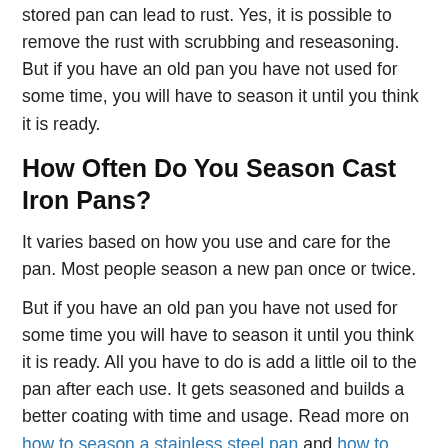stored pan can lead to rust. Yes, it is possible to remove the rust with scrubbing and reseasoning. But if you have an old pan you have not used for some time, you will have to season it until you think it is ready.
How Often Do You Season Cast Iron Pans?
It varies based on how you use and care for the pan. Most people season a new pan once or twice.
But if you have an old pan you have not used for some time you will have to season it until you think it is ready. All you have to do is add a little oil to the pan after each use. It gets seasoned and builds a better coating with time and usage. Read more on how to season a stainless steel pan and how to season an aluminum pan.